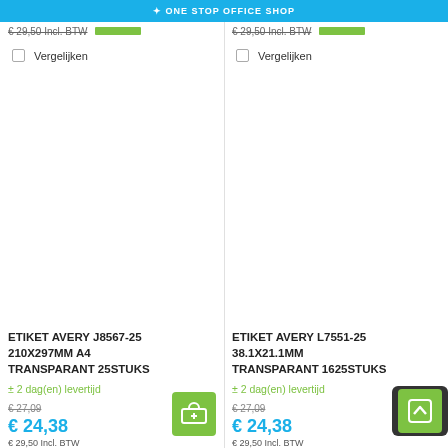ONE STOP OFFICE SHOP
€ 29,50 Incl. BTW
€ 29,50 Incl. BTW
Vergelijken
Vergelijken
ETIKET AVERY J8567-25 210X297MM A4 TRANSPARANT 25STUKS
ETIKET AVERY L7551-25 38.1X21.1MM TRANSPARANT 1625STUKS
± 2 dag(en) levertijd
± 2 dag(en) levertijd
€ 27,09
€ 27,09
€ 24,38
€ 24,38
€ 29,50 Incl. BTW
€ 29,50 Incl. BTW